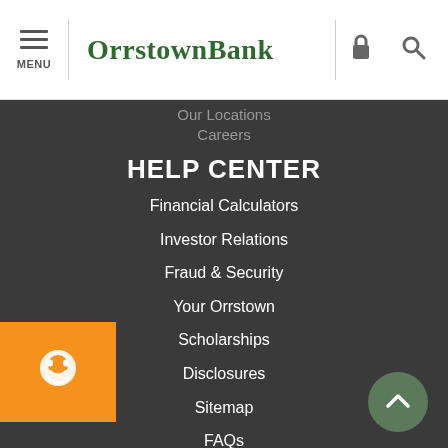MENU | OrrstownBank
Our Locations
Careers
HELP CENTER
Financial Calculators
Investor Relations
Fraud & Security
Your Orrstown
Scholarships
Disclosures
Sitemap
FAQs
Routing Number: 031315036